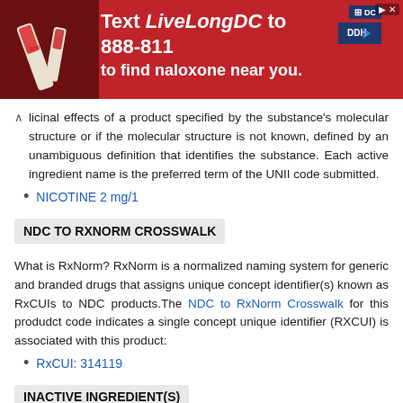[Figure (photo): Red advertisement banner: Text LiveLongDC to 888-811 to find naloxone near you, with DC and DDH logos]
licinal effects of a product specified by the substance's molecular structure or if the molecular structure is not known, defined by an unambiguous definition that identifies the substance. Each active ingredient name is the preferred term of the UNII code submitted.
NICOTINE 2 mg/1
NDC TO RXNORM CROSSWALK
What is RxNorm? RxNorm is a normalized naming system for generic and branded drugs that assigns unique concept identifier(s) known as RxCUIs to NDC products.The NDC to RxNorm Crosswalk for this produdct code indicates a single concept unique identifier (RXCUI) is associated with this product:
RxCUI: 314119
INACTIVE INGREDIENT(S)